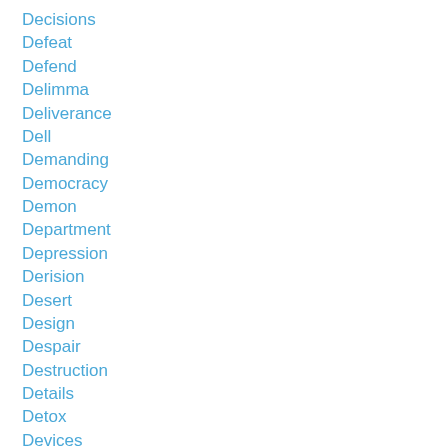Decisions
Defeat
Defend
Delimma
Deliverance
Dell
Demanding
Democracy
Demon
Department
Depression
Derision
Desert
Design
Despair
Destruction
Details
Detox
Devices
Devil